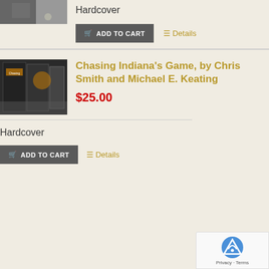[Figure (photo): Partial book cover image at top left]
Hardcover
ADD TO CART
Details
[Figure (photo): Book cover photo for Chasing Indiana's Game showing stacked books]
Chasing Indiana's Game, by Chris Smith and Michael E. Keating
$25.00
Hardcover
ADD TO CART
Details